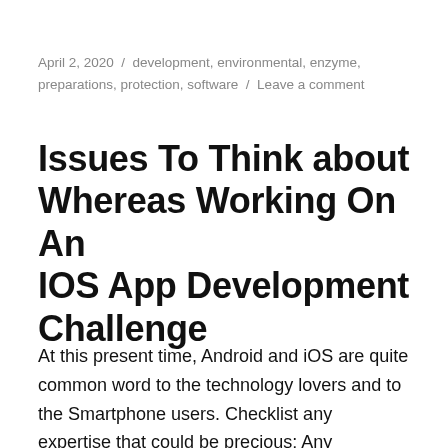April 2, 2020 / development, environmental, enzyme, preparations, protection, software / Leave a comment
Issues To Think about Whereas Working On An IOS App Development Challenge
At this present time, Android and iOS are quite common word to the technology lovers and to the Smartphone users. Checklist any expertise that could be precious: Any volunteer work that